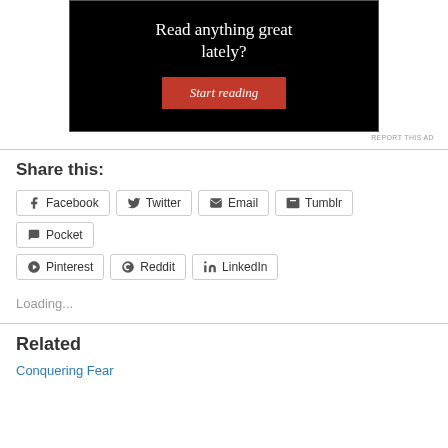[Figure (screenshot): Advertisement banner with black background showing text 'Read anything great lately?' and a red 'Start reading' button]
REPORT THIS AD
Share this:
Facebook  Twitter  Email  Tumblr  Pocket  Pinterest  Reddit  LinkedIn
Loading...
Related
Conquering Fear